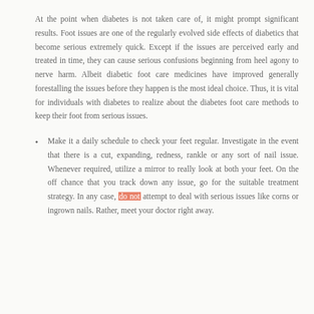At the point when diabetes is not taken care of, it might prompt significant results. Foot issues are one of the regularly evolved side effects of diabetics that become serious extremely quick. Except if the issues are perceived early and treated in time, they can cause serious confusions beginning from heel agony to nerve harm. Albeit diabetic foot care medicines have improved generally forestalling the issues before they happen is the most ideal choice. Thus, it is vital for individuals with diabetes to realize about the diabetes foot care methods to keep their foot from serious issues.
Make it a daily schedule to check your feet regular. Investigate in the event that there is a cut, expanding, redness, rankle or any sort of nail issue. Whenever required, utilize a mirror to really look at both your feet. On the off chance that you track down any issue, go for the suitable treatment strategy. In any case, do not attempt to deal with serious issues like corns or ingrown nails. Rather, meet your doctor right away.